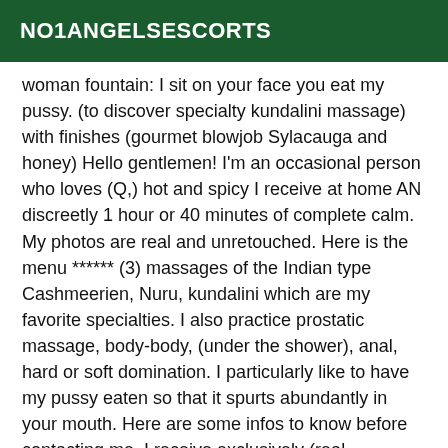NO1ANGELSESCORTS
woman fountain: I sit on your face you eat my pussy. (to discover specialty kundalini massage) with finishes (gourmet blowjob Sylacauga and honey) Hello gentlemen! I'm an occasional person who loves (Q,) hot and spicy I receive at home AN discreetly 1 hour or 40 minutes of complete calm. My photos are real and unretouched. Here is the menu ****** (3) massages of the Indian type Cashmeerien, Nuru, kundalini which are my favorite specialties. I also practice prostatic massage, body-body, (under the shower), anal, hard or soft domination. I particularly like to have my pussy eaten so that it spurts abundantly in your mouth. Here are some infos to know before contacting me. I receive exclusively (real gentleman) mature, polite, respectful, educated and especially with an irreproachable (hygiene). You will receive the same in return. My schedules from 10 to 23 hours (only with an appointment